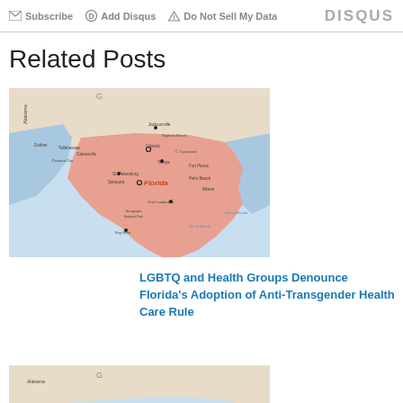Subscribe  Add Disqus  Do Not Sell My Data   DISQUS
Related Posts
[Figure (map): Map of Florida state showing cities including Jacksonville, Daytona Beach, Orlando, Tampa, St. Petersburg, Sarasota, Fort Lauderdale, Miami, and surrounding areas including parts of Alabama and Georgia.]
LGBTQ and Health Groups Denounce Florida's Adoption of Anti-Transgender Health Care Rule
[Figure (map): Partial map of Florida state, cropped, showing northern region.]